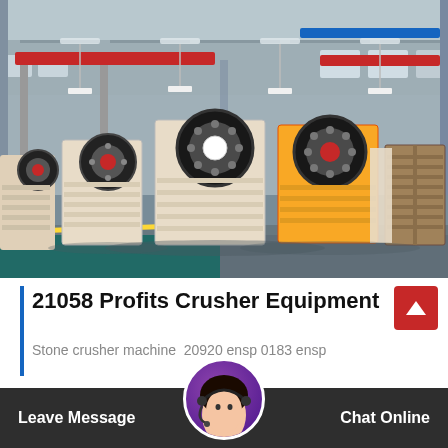[Figure (photo): Factory floor interior showing multiple jaw crusher machines (beige and yellow colored) lined up in a large industrial warehouse with steel beam ceiling structure, red and blue overhead cranes visible.]
21058 Profits Crusher Equipment
Stone crusher machine 20920 ensp 0183 ensp
Leave Message